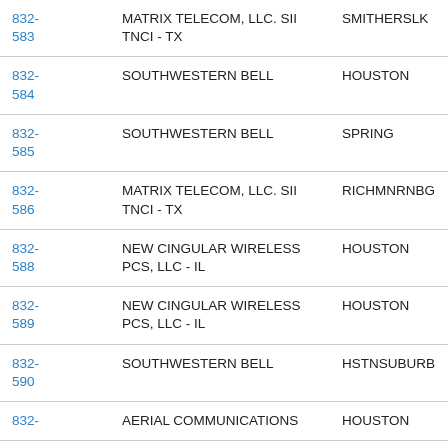| 832-583 | MATRIX TELECOM, LLC. SII TNCI - TX | SMITHERSLK |
| 832-584 | SOUTHWESTERN BELL | HOUSTON |
| 832-585 | SOUTHWESTERN BELL | SPRING |
| 832-586 | MATRIX TELECOM, LLC. SII TNCI - TX | RICHMNRNBG |
| 832-588 | NEW CINGULAR WIRELESS PCS, LLC - IL | HOUSTON |
| 832-589 | NEW CINGULAR WIRELESS PCS, LLC - IL | HOUSTON |
| 832-590 | SOUTHWESTERN BELL | HSTNSUBURB |
| 832- | AERIAL COMMUNICATIONS | HOUSTON |